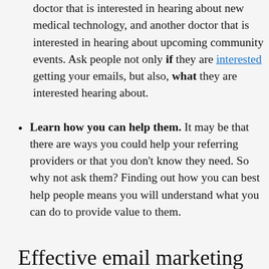doctor that is interested in hearing about new medical technology, and another doctor that is interested in hearing about upcoming community events. Ask people not only if they are interested getting your emails, but also, what they are interested hearing about.
Learn how you can help them. It may be that there are ways you could help your referring providers or that you don't know they need. So why not ask them? Finding out how you can best help people means you will understand what you can do to provide value to them.
Effective email marketing to referring physicians takes tim